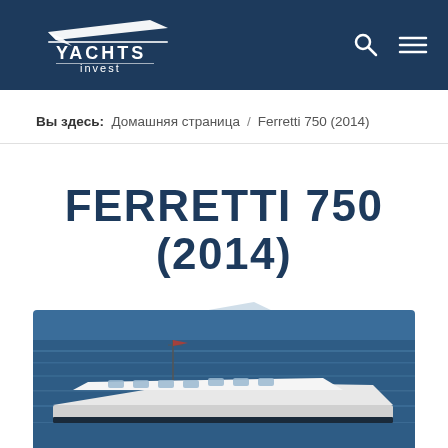Yachts Invest — navigation header with logo, search icon, menu icon
Вы здесь:  Домашняя страница  /  Ferretti 750 (2014)
FERRETTI 750 (2014)
[Figure (logo): Yachts Invest watermark boat silhouette icon centered below title]
[Figure (photo): Aerial/side view photograph of Ferretti 750 yacht on blue sea water]